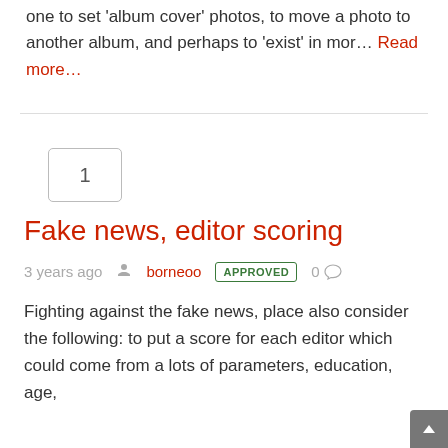one to set 'album cover' photos, to move a photo to another album, and perhaps to 'exist' in mor… Read more…
1
Fake news, editor scoring
3 years ago  borneoo  APPROVED  0
Fighting against the fake news, place also consider the following: to put a score for each editor which could come from a lots of parameters, education, age,